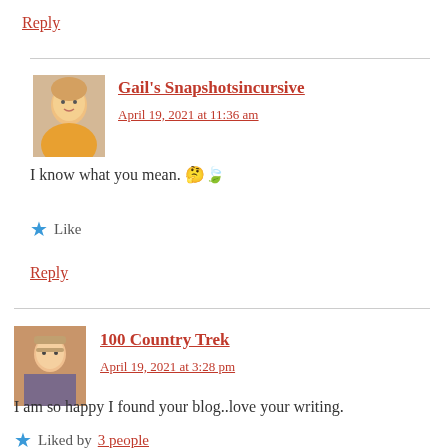Reply
[Figure (photo): Avatar photo of Gail, a blonde woman in a yellow top]
Gail's Snapshotsincursive
April 19, 2021 at 11:36 am
I know what you mean. 🤔🍃
★ Like
Reply
[Figure (photo): Avatar photo of a woman with glasses and a patterned top]
100 Country Trek
April 19, 2021 at 3:28 pm
I am so happy I found your blog..love your writing.
★ Liked by 3 people